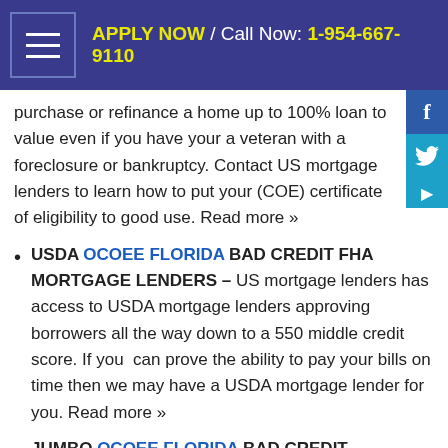APPLY NOW / Call Now: 1-954-667-9110
purchase or refinance a home up to 100% loan to value even if you have your a veteran with a foreclosure or bankruptcy. Contact US mortgage lenders to learn how to put your (COE) certificate of eligibility to good use. Read more »
USDA OCOEE FLORIDA BAD CREDIT FHA MORTGAGE LENDERS– US mortgage lenders has access to USDA mortgage lenders approving borrowers all the way down to a 550 middle credit score. If you can prove the ability to pay your bills on time then we may have a USDA mortgage lender for you. Read more »
JUMBO OCOEE FLORIDA BAD CREDIT MORTGAGE LENDERS–US Mortgage lenders has access to jumbo